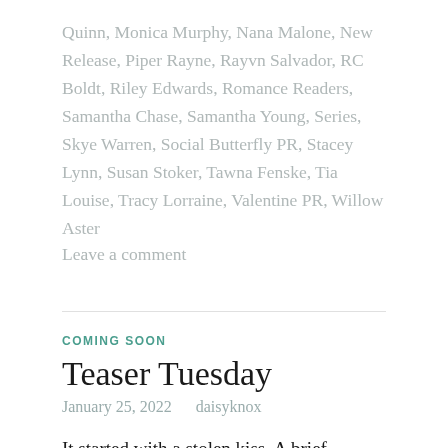Quinn, Monica Murphy, Nana Malone, New Release, Piper Rayne, Rayvn Salvador, RC Boldt, Riley Edwards, Romance Readers, Samantha Chase, Samantha Young, Series, Skye Warren, Social Butterfly PR, Stacey Lynn, Susan Stoker, Tawna Fenske, Tia Louise, Tracy Lorraine, Valentine PR, Willow Aster
Leave a comment
COMING SOON
Teaser Tuesday
January 25, 2022   daisyknox
It started with a stolen kiss. A brief flirtation between two strangers. Until reality intruded. Irish Devil by L.K. Shaw is live